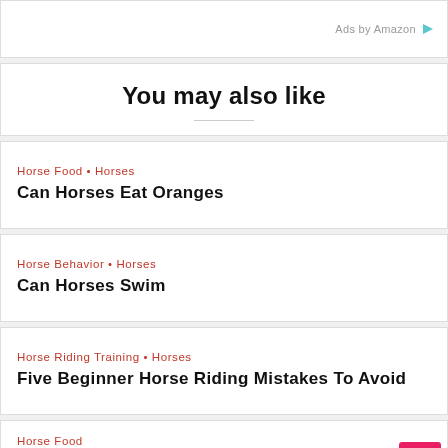Ads by Amazon
You may also like
Horse Food • Horses
Can Horses Eat Oranges
Horse Behavior • Horses
Can Horses Swim
Horse Riding Training • Horses
Five Beginner Horse Riding Mistakes To Avoid
Horse Food
Can Horses Eat